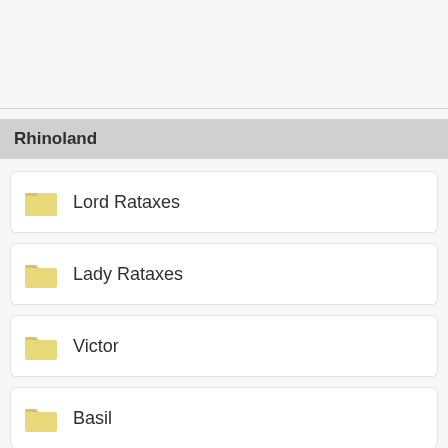Rhinoland
Lord Rataxes
Lady Rataxes
Victor
Basil
Past characters